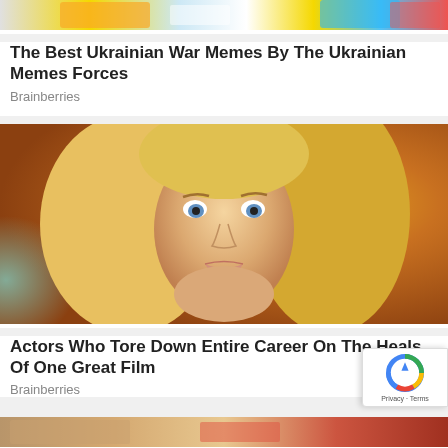[Figure (photo): Partial image at top of page — colorful illustrated image cropped at top]
The Best Ukrainian War Memes By The Ukrainian Memes Forces
Brainberries
[Figure (photo): Close-up photo of a young blonde woman with blue eyes against an orange/warm background]
Actors Who Tore Down Entire Career On The Heals Of One Great Film
Brainberries
[Figure (photo): Partial image at bottom of page — cropped photo]